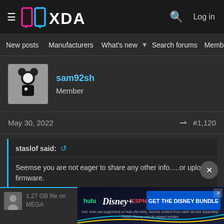XDA Developers - Log in
New posts  Manufacturers  What's new  Search forums  Members
sam92sh
Member
May 30, 2022  #1,120
staslof said:
Seemse you are not eager to share any other info.....or upload firmware.
[Figure (screenshot): Advertisement banner: Hulu, Disney+, ESPN+ - GET THE DISNEY BUNDLE. Incl. Hulu (ad-supported) or Hulu (No Ads). Access content from each service separately. ©2021 Disney and its related entities.]